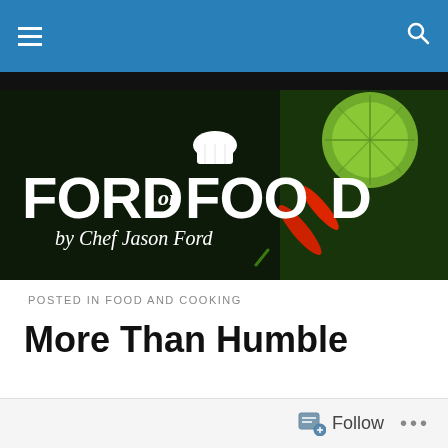Navigation bar with hamburger menu and search icon
[Figure (logo): Ford on Food by Chef Jason Ford logo banner — white bold text on dark background with lime, chili pepper, and herb garnish]
POSTED IN FOOD AND COOKING
More Than Humble
[Figure (photo): Potatoes with green herb leaves on white background]
Follow   ...